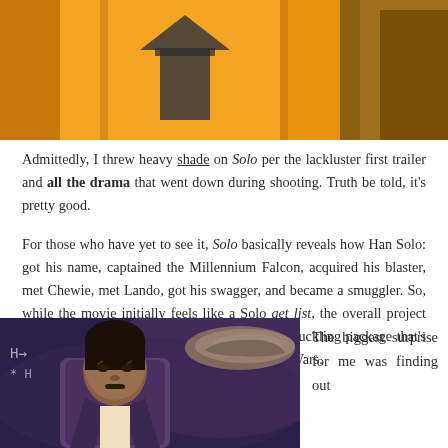[Figure (photo): Cropped photo showing person in yellow jacket with a dark geometric/star shape accessory, another figure partially visible on right]
Admittedly, I threw heavy shade on Solo per the lackluster first trailer and all the drama that went down during shooting. Truth be told, it's pretty good.
For those who have yet to see it, Solo basically reveals how Han Solo: got his name, captained the Millennium Falcon, acquired his blaster, met Chewie, met Lando, got his swagger, and became a smuggler. So, while the movie initially feels like a Solo get list, the overall project comes together in an slick, intergalactic swashbuckling package that's entertaining even for those not totally into Star Wars.
[Figure (photo): Photo of Donald Glover as Lando Calrissian with a spacecraft in the background]
The biggest surprise for me was finding out